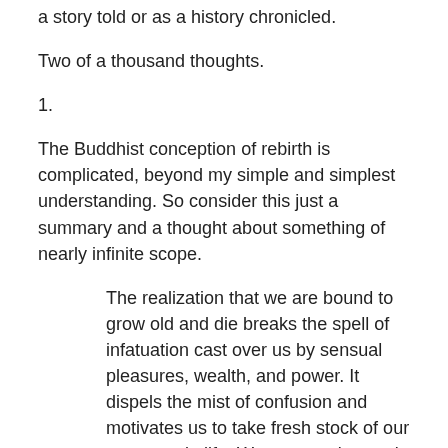a story told or as a history chronicled.
Two of a thousand thoughts.
1.
The Buddhist conception of rebirth is complicated, beyond my simple and simplest understanding. So consider this just a summary and a thought about something of nearly infinite scope.
The realization that we are bound to grow old and die breaks the spell of infatuation cast over us by sensual pleasures, wealth, and power. It dispels the mist of confusion and motivates us to take fresh stock of our purposes in life. We may not be ready to give up family and possessions for a life of homeless wandering and solitary meditation, but this is not an